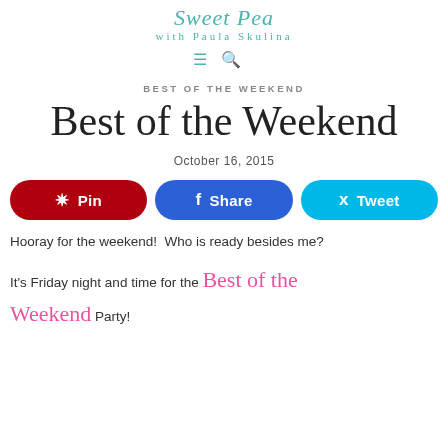Sweet Pea with Paula Skulina
[Figure (logo): Navigation icons: hamburger menu and search (magnifying glass) in teal color]
BEST OF THE WEEKEND
Best of the Weekend
October 16, 2015
[Figure (infographic): Three share buttons: Pin (red), Share (blue), Tweet (light blue)]
Hooray for the weekend!  Who is ready besides me?
It's Friday night and time for the Best of the Weekend Party!